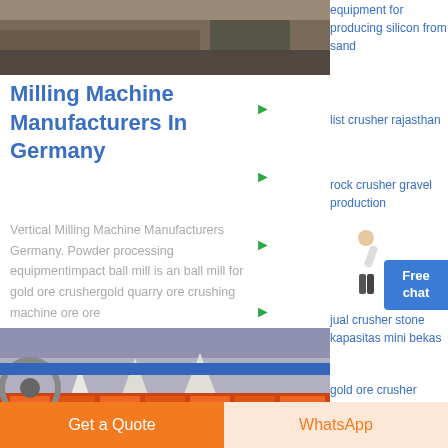[Figure (photo): Top photo of industrial/construction site machinery]
equipment for producing silicon from sand
list crusher rajasthan
rock crusher gravel production
Milling Machine Manufacturers In Germany
Vertical Milling Machine Manufacturers Germany. Powder processing equipmentimpact ball mill is an ball mill for gold ore crushergold quarry ore crushing machine ore ore
jual crusher stone kapasitas mini bekas
gold ore crusher salegold ore crusher small
hammer
[Figure (photo): Photo of colorful industrial milling/crushing machinery with cone shapes]
Get a Quote
WhatsApp